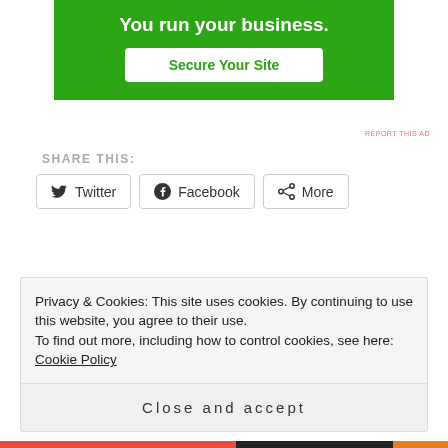[Figure (other): Green advertisement banner with headline 'You run your business.' and a white button 'Secure Your Site']
REPORT THIS AD
SHARE THIS:
[Figure (other): Share buttons row: Twitter, Facebook, More]
[Figure (other): Like button with blue star icon]
Be the first to like this.
RELATED
Privacy & Cookies: This site uses cookies. By continuing to use this website, you agree to their use.
To find out more, including how to control cookies, see here: Cookie Policy
Close and accept